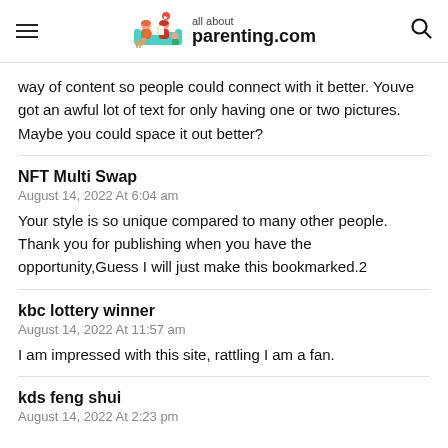all about parenting.com
way of content so people could connect with it better. Youve got an awful lot of text for only having one or two pictures. Maybe you could space it out better?
NFT Multi Swap
August 14, 2022 At 6:04 am
Your style is so unique compared to many other people. Thank you for publishing when you have the opportunity,Guess I will just make this bookmarked.2
kbc lottery winner
August 14, 2022 At 11:57 am
I am impressed with this site, rattling I am a fan.
kds feng shui
August 14, 2022 At 2:23 pm